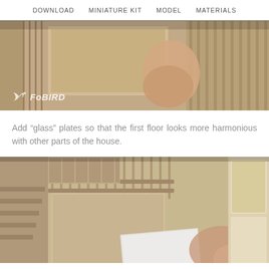DOWNLOAD   MINIATURE KIT   MODEL   MATERIALS
[Figure (photo): Close-up photo of hands assembling a wooden miniature house, showing wooden slat wall panels and a frame being pressed together. FoBIRD logo visible in lower left corner.]
Add “glass” plates so that the first floor looks more harmonious with other parts of the house.
[Figure (photo): Photo of a wooden miniature dollhouse showing staircase railings, shelves, and a hand inserting a white glass plate into the structure.]